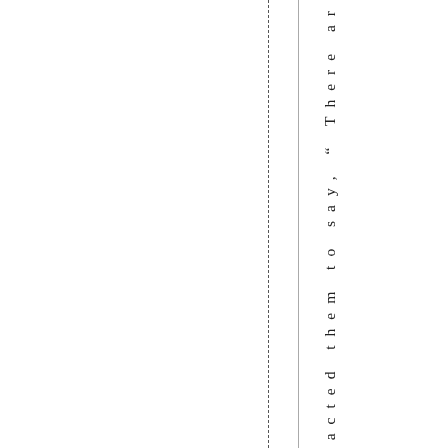at el contacted them to say, " There ar